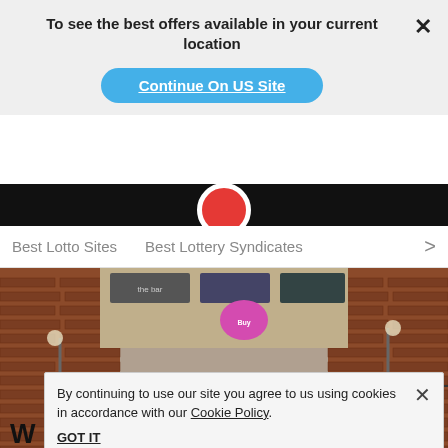To see the best offers available in your current location
Continue On US Site
Best Lotto Sites
Best Lottery Syndicates
[Figure (photo): Street-level photo of a Birmingham canal tunnel with brick arch, canal water, people walking, brick buildings and shops in the background]
By continuing to use our site you agree to us using cookies in accordance with our Cookie Policy.
GOT IT
3 mins
W ... ional Lottery W
To celebrate its 25th birthday, the UK's National